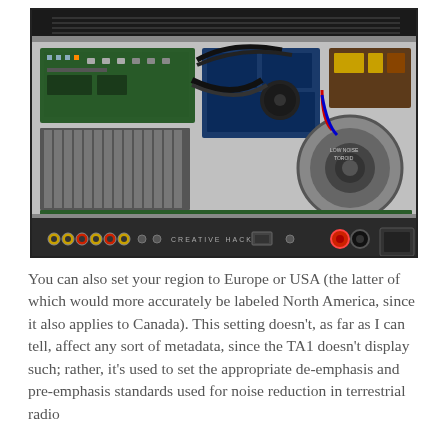[Figure (photo): Interior view of an audio amplifier/receiver with the lid removed, showing PCB boards, heatsink fins, wiring harness, toroidal transformer, power supply components, and the rear panel with RCA inputs, USB port, and speaker binding posts.]
You can also set your region to Europe or USA (the latter of which would more accurately be labeled North America, since it also applies to Canada). This setting doesn't, as far as I can tell, affect any sort of metadata, since the TA1 doesn't display such; rather, it's used to set the appropriate de-emphasis and pre-emphasis standards used for noise reduction in terrestrial radio